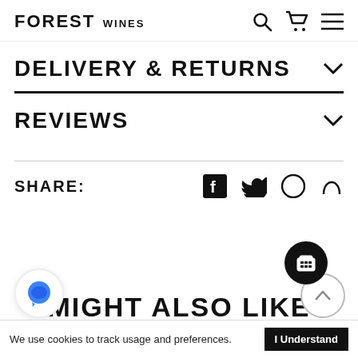FOREST WINES
DELIVERY & RETURNS
REVIEWS
SHARE:
MIGHT ALSO LIKE
We use cookies to track usage and preferences. I Understand